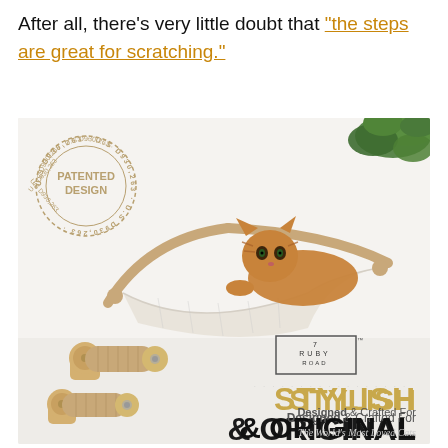After all, there's very little doubt that "the steps are great for scratching."
[Figure (photo): Product photo showing a cat wall hammock with white fabric sling and wooden frame mounted on a wall, a tabby cat resting in it, two sisal-wrapped wall-mounted scratching posts below, a green tropical plant in the upper right, a 'PATENTED DESIGN' circular stamp overlay on the left, a '7 RUBY ROAD' logo box, and text reading 'STYLISH & ORIGINAL' and 'Designed & Crafted For The World's Most Loved Cats']